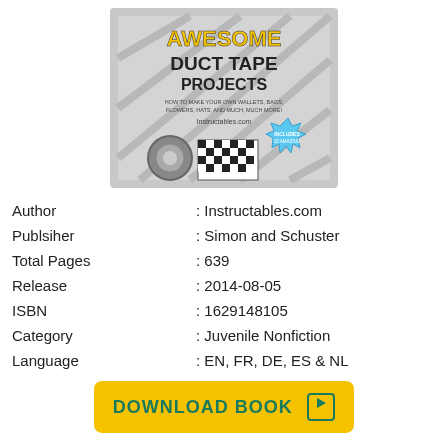[Figure (illustration): Book cover of 'Awesome Duct Tape Projects' by Instructables.com, published by Simon and Schuster. Cover shows yellow and black text with images of duct tape rolls and a checkerboard pattern.]
| Author | : Instructables.com |
| Publsiher | : Simon and Schuster |
| Total Pages | : 639 |
| Release | : 2014-08-05 |
| ISBN | : 1629148105 |
| Category | : Juvenile Nonfiction |
| Language | : EN, FR, DE, ES & NL |
DOWNLOAD BOOK